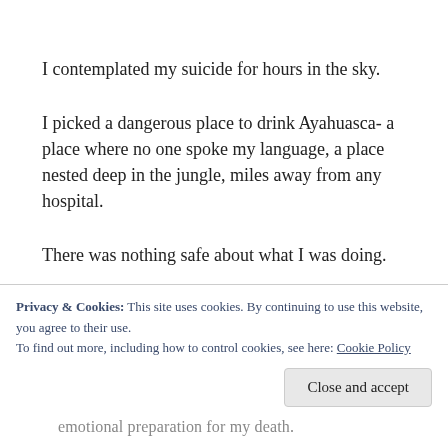I contemplated my suicide for hours in the sky.
I picked a dangerous place to drink Ayahuasca- a place where no one spoke my language, a place nested deep in the jungle, miles away from any hospital.
There was nothing safe about what I was doing.
In my mind, I pondered every possibility. Maybe my
Privacy & Cookies: This site uses cookies. By continuing to use this website, you agree to their use.
To find out more, including how to control cookies, see here: Cookie Policy
emotional preparation for my death.